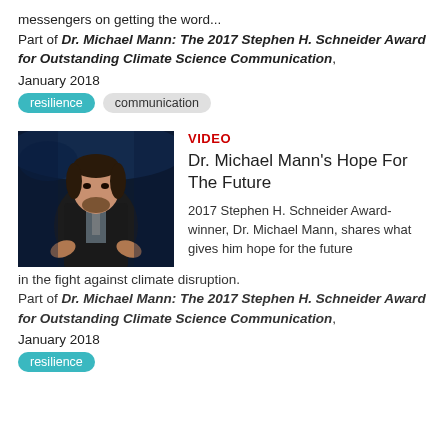messengers on getting the word... Part of Dr. Michael Mann: The 2017 Stephen H. Schneider Award for Outstanding Climate Science Communication, January 2018
resilience
communication
[Figure (photo): Photo of Dr. Michael Mann speaking on a darkly lit stage, wearing a suit, gesturing with both hands.]
VIDEO
Dr. Michael Mann's Hope For The Future
2017 Stephen H. Schneider Award-winner, Dr. Michael Mann, shares what gives him hope for the future in the fight against climate disruption. Part of Dr. Michael Mann: The 2017 Stephen H. Schneider Award for Outstanding Climate Science Communication, January 2018
resilience